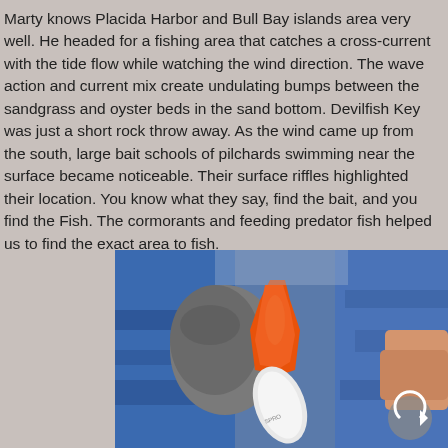Marty knows Placida Harbor and Bull Bay islands area very well. He headed for a fishing area that catches a cross-current with the tide flow while watching the wind direction. The wave action and current mix create undulating bumps between the sandgrass and oyster beds in the sand bottom. Devilfish Key was just a short rock throw away. As the wind came up from the south, large bait schools of pilchards swimming near the surface became noticeable. Their surface riffles highlighted their location. You know what they say, find the bait, and you find the Fish.  The cormorants and feeding predator fish helped us to find the exact area to fish.
[Figure (photo): Close-up photo of gloved hands (blue jacket sleeves, grey/dark gloves) holding a fishing lure or bait with an orange plastic component and a white blade/spoon. A circular arrow button overlay is visible in the bottom right corner of the image.]